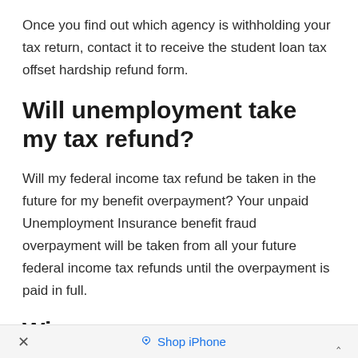Once you find out which agency is withholding your tax return, contact it to receive the student loan tax offset hardship refund form.
Will unemployment take my tax refund?
Will my federal income tax refund be taken in the future for my benefit overpayment? Your unpaid Unemployment Insurance benefit fraud overpayment will be taken from all your future federal income tax refunds until the overpayment is paid in full.
× Shop iPhone ^